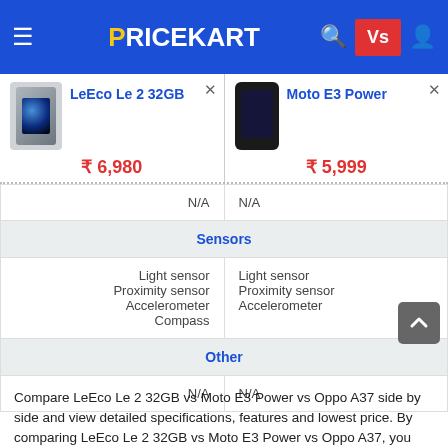PRICEKART — navigation header with hamburger, logo, search, Vs, user icons
| LeEco Le 2 32GB | Moto E3 Power |
| --- | --- |
| ₹6,980 | ₹5,999 |
| N/A | N/A |
| Sensors (section header) |  |
| Light sensor
Proximity sensor
Accelerometer
Compass | Light sensor
Proximity sensor
Accelerometer |
| Other (section header) |  |
| N/A | N/A |
Compare LeEco Le 2 32GB vs Moto E3 Power vs Oppo A37 side by side and view detailed specifications, features and lowest price. By comparing LeEco Le 2 32GB vs Moto E3 Power vs Oppo A37, you